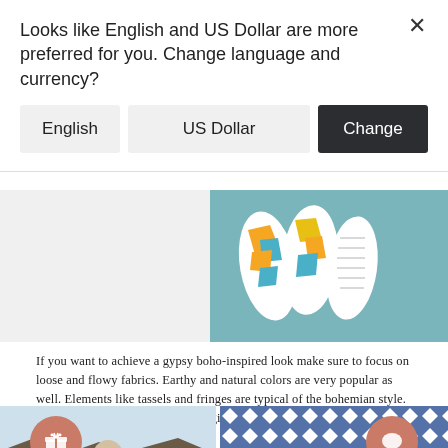Looks like English and US Dollar are more preferred for you. Change language and currency?
English
US Dollar
Change
[Figure (illustration): Colorful bohemian flip-flops on a teal background]
If you want to achieve a gypsy boho-inspired look make sure to focus on loose and flowy fabrics. Earthy and natural colors are very popular as well. Elements like tassels and fringes are typical of the bohemian style. We can find such components hanging off of shoes, bags, jackets, tops, etc.
[Figure (photo): Left photo: woman at a tropical resort]
[Figure (photo): Right photo: close-up of blue and white bohemian fringed textile]